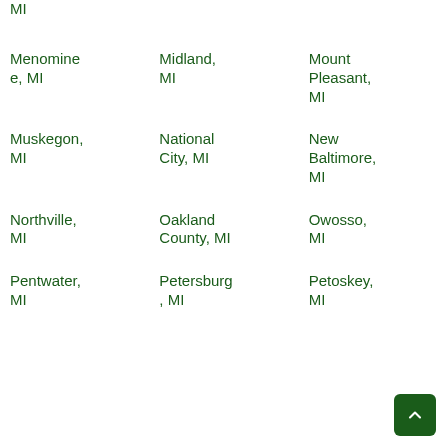MI
Menominee, MI
Midland, MI
Mount Pleasant, MI
Muskegon, MI
National City, MI
New Baltimore, MI
Northville, MI
Oakland County, MI
Owosso, MI
Pentwater, MI
Petersburg, MI
Petoskey, MI